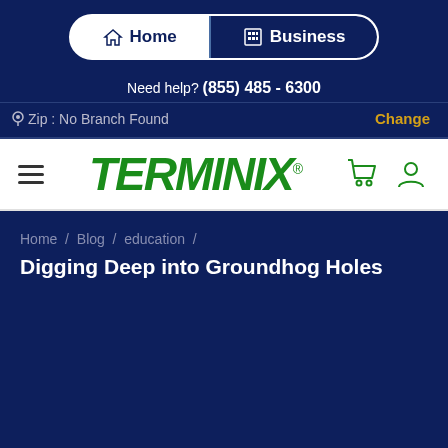[Figure (screenshot): Terminix website navigation with Home/Business toggle, help phone number, zip code row, Terminix logo bar with hamburger menu and cart/user icons, and breadcrumb navigation]
Home  /  Business
Need help?  (855) 485 - 6300
Zip : No Branch Found   Change
[Figure (logo): Terminix logo in green italic bold text with registered trademark symbol]
Home  /  Blog  /  education  /
Digging Deep into Groundhog Holes